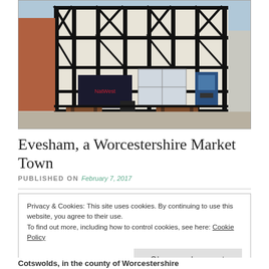[Figure (photo): Photograph of a black-and-white timber-framed building in Evesham town centre, with benches and a rubbish bin in front, and a street scene including brick buildings to the left and an ATM to the right.]
Evesham, a Worcestershire Market Town
PUBLISHED ON February 7, 2017
Privacy & Cookies: This site uses cookies. By continuing to use this website, you agree to their use.
To find out more, including how to control cookies, see here: Cookie Policy
Close and accept
Cotswolds, in the county of Worcestershire